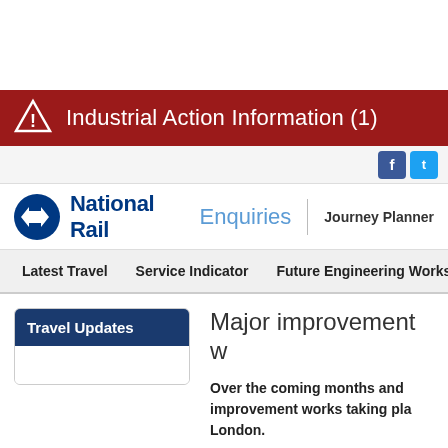Industrial Action Information (1)
[Figure (screenshot): National Rail Enquiries website header with logo, Journey Planner link, navigation bar (Latest Travel, Service Indicator, Future Engineering Works, Clear...) and social icons (Facebook, Twitter)]
Travel Updates
Major improvement w
Over the coming months and improvement works taking pla London.